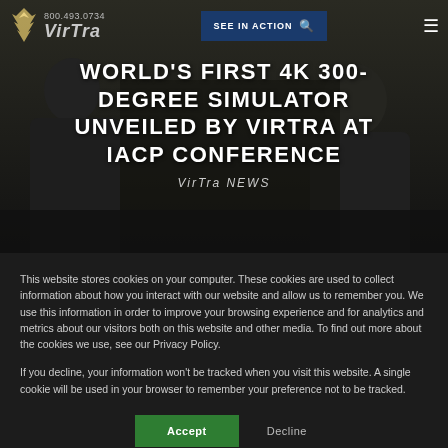800.493.0734  SEE IN ACTION
WORLD'S FIRST 4K 300-DEGREE SIMULATOR UNVEILED BY VIRTRA AT IACP CONFERENCE
VirTra NEWS
This website stores cookies on your computer. These cookies are used to collect information about how you interact with our website and allow us to remember you. We use this information in order to improve your browsing experience and for analytics and metrics about our visitors both on this website and other media. To find out more about the cookies we use, see our Privacy Policy.
If you decline, your information won't be tracked when you visit this website. A single cookie will be used in your browser to remember your preference not to be tracked.